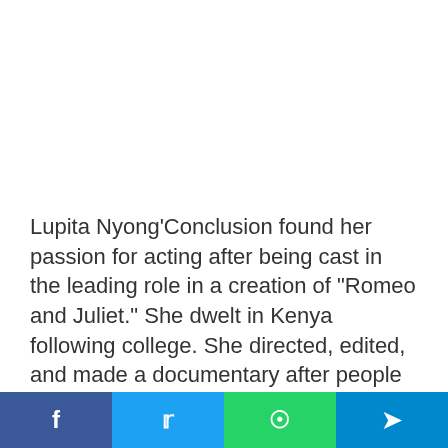Lupita Nyong’Conclusion found her passion for acting after being cast in the leading role in a creation of “Romeo and Juliet.” She dwelt in Kenya following college. She directed, edited, and made a documentary after people in Kenya that are albino. She subsequently worked on a tv series called “Shuga,” that was made by MTV/UNICEF
Social share bar: Facebook, Twitter, WhatsApp, Telegram